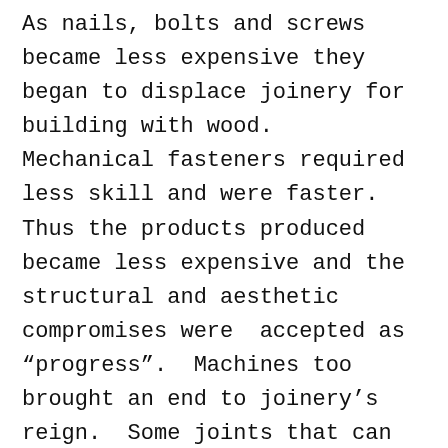As nails, bolts and screws became less expensive they began to displace joinery for building with wood.  Mechanical fasteners required less skill and were faster. Thus the products produced became less expensive and the structural and aesthetic compromises were  accepted as “progress”.  Machines too brought an end to joinery’s reign.  Some joints that can be “easily” cut by hand are either impossible to cut with a machine or the setup is too costly.  So joinery was simplified or abandoned to accommodate mass production.
I have no intention of delving into a philosophical diatribe on the pros and